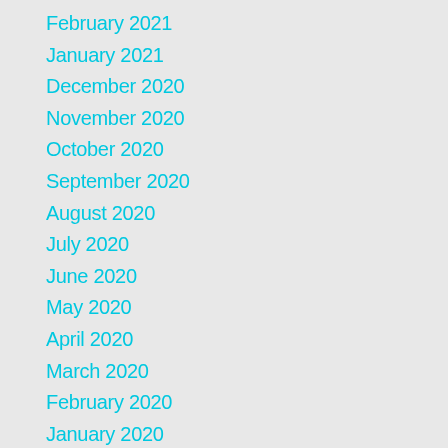February 2021
January 2021
December 2020
November 2020
October 2020
September 2020
August 2020
July 2020
June 2020
May 2020
April 2020
March 2020
February 2020
January 2020
December 2019
November 2019
October 2019
September 2019
August 2019